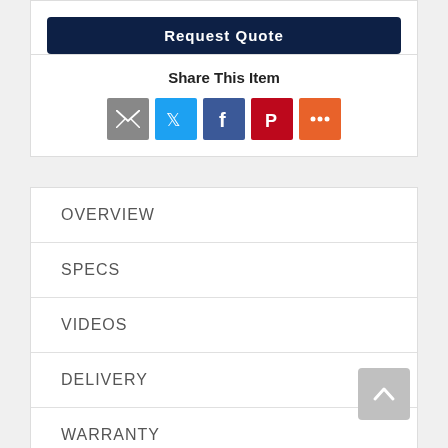Request Quote
Share This Item
[Figure (infographic): Social share icons: Email (gray), Twitter (blue), Facebook (dark blue), Pinterest (dark red), More (orange)]
OVERVIEW
SPECS
VIDEOS
DELIVERY
WARRANTY